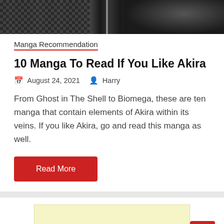[Figure (photo): Black and white manga/anime style image strip showing two panels side by side]
Manga Recommendation
10 Manga To Read If You Like Akira
August 24, 2021   Harry
From Ghost in The Shell to Biomega, these are ten manga that contain elements of Akira within its veins. If you like Akira, go and read this manga as well.
Read More
[Figure (other): Yellow advertisement box with red button containing up arrow]